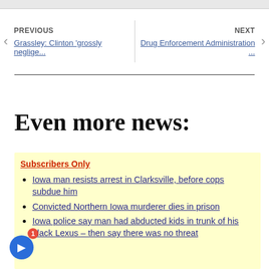PREVIOUS
Grassley: Clinton 'grossly neglige...
NEXT
Drug Enforcement Administration ...
Even more news:
Subscribers Only
Iowa man resists arrest in Clarksville, before cops subdue him
Convicted Northern Iowa murderer dies in prison
Iowa police say man had abducted kids in trunk of his black Lexus – then say there was no threat